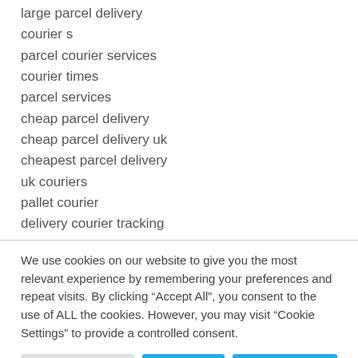large parcel delivery
courier s
parcel courier services
courier times
parcel services
cheap parcel delivery
cheap parcel delivery uk
cheapest parcel delivery
uk couriers
pallet courier
delivery courier tracking
We use cookies on our website to give you the most relevant experience by remembering your preferences and repeat visits. By clicking “Accept All”, you consent to the use of ALL the cookies. However, you may visit “Cookie Settings” to provide a controlled consent.